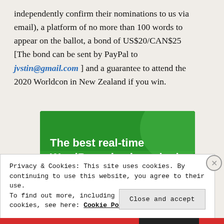independently confirm their nominations to us via email), a platform of no more than 100 words to appear on the ballot, a bond of US$20/CAN$25 [The bond can be sent by PayPal to jvstin@gmail.com ] and a guarantee to attend the 2020 Worldcon in New Zealand if you win.
[Figure (illustration): Green advertisement banner for 'The best real-time WordPress backup plugin' with decorative green circles and shapes on a green background.]
Privacy & Cookies: This site uses cookies. By continuing to use this website, you agree to their use.
To find out more, including how to control cookies, see here: Cookie Policy
Close and accept